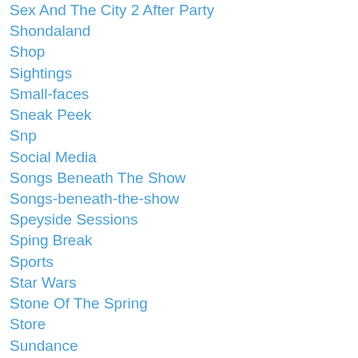Sex And The City 2 After Party
Shondaland
Shop
Sightings
Small-faces
Sneak Peek
Snp
Social Media
Songs Beneath The Show
Songs-beneath-the-show
Speyside Sessions
Sping Break
Sports
Star Wars
Stone Of The Spring
Store
Sundance
Surfing
Tales Of Old Edinburgh
Talk-show
Tater Awards 2010